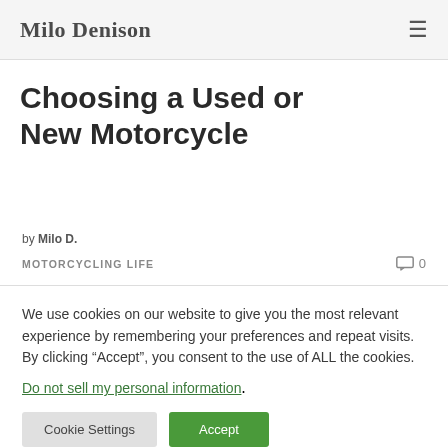Milo Denison
Choosing a Used or New Motorcycle
by Milo D.
MOTORCYCLING LIFE  0
We use cookies on our website to give you the most relevant experience by remembering your preferences and repeat visits. By clicking “Accept”, you consent to the use of ALL the cookies.
Do not sell my personal information.